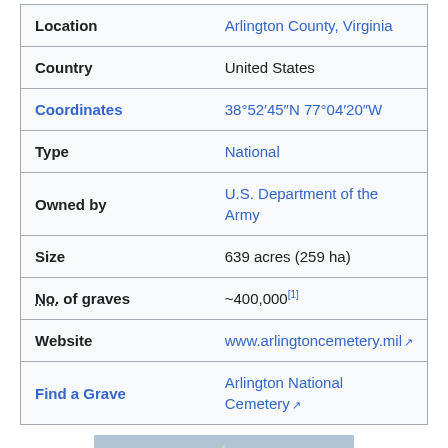| Field | Value |
| --- | --- |
| Location | Arlington County, Virginia |
| Country | United States |
| Coordinates | 38°52′45″N 77°04′20″W |
| Type | National |
| Owned by | U.S. Department of the Army |
| Size | 639 acres (259 ha) |
| No. of graves | ~400,000[1] |
| Website | www.arlingtoncemetery.mil ↗ |
| Find a Grave | Arlington National Cemetery ↗ |
[Figure (photo): Aerial or panoramic view of Arlington National Cemetery showing green tree-covered grounds with the Washington Monument visible in the background against a grey sky]